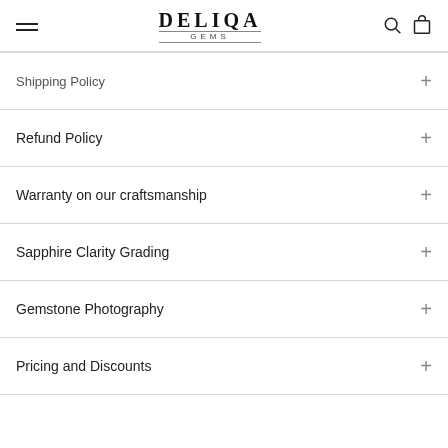DELIQA GEMS
Shipping Policy
Refund Policy
Warranty on our craftsmanship
Sapphire Clarity Grading
Gemstone Photography
Pricing and Discounts